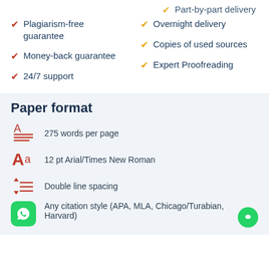Part-by-part delivery (partial, cut off at top)
Plagiarism-free guarantee
Overnight delivery
Money-back guarantee
Copies of used sources
24/7 support
Expert Proofreading
Paper format
275 words per page
12 pt Arial/Times New Roman
Double line spacing
Any citation style (APA, MLA, Chicago/Turabian, Harvard)